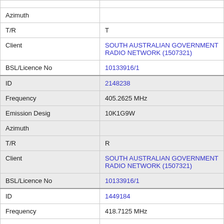| Azimuth |  |
| T/R | T |
| Client | SOUTH AUSTRALIAN GOVERNMENT RADIO NETWORK (1507321) |
| BSL/Licence No | 10133916/1 |
| ID | 2148238 |
| Frequency | 405.2625 MHz |
| Emission Desig | 10K1G9W |
| Azimuth |  |
| T/R | R |
| Client | SOUTH AUSTRALIAN GOVERNMENT RADIO NETWORK (1507321) |
| BSL/Licence No | 10133916/1 |
| ID | 1449184 |
| Frequency | 418.7125 MHz |
| Emission Desig | 10K1G9W |
| Azimuth |  |